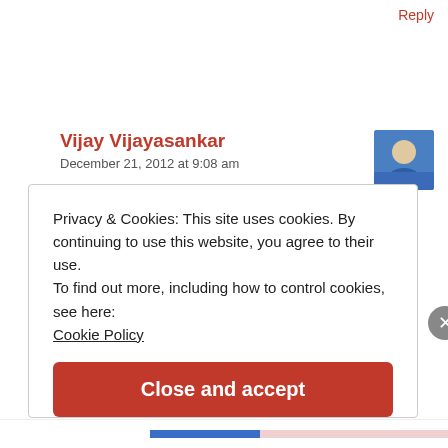Reply
Vijay Vijayasankar
December 21, 2012 at 9:08 am
Thanks Vikas . I am not going that far – pls don't hesitate to ping me if there is something I can help with
Like
Privacy & Cookies: This site uses cookies. By continuing to use this website, you agree to their use.
To find out more, including how to control cookies, see here:
Cookie Policy
Close and accept